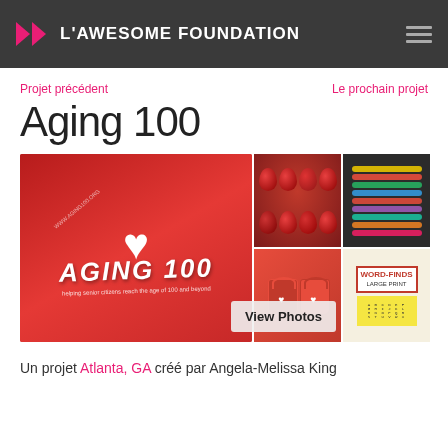L'AWESOME FOUNDATION
Projet précédent
Le prochain projet
Aging 100
[Figure (photo): Photo collage showing Aging 100 branded red bag with heart logo, red eggs/candies, colorful rubber bands, red bags with heart logo, and a Word-Finds puzzle book. A 'View Photos' button overlays the bottom right.]
Un projet Atlanta, GA créé par Angela-Melissa King